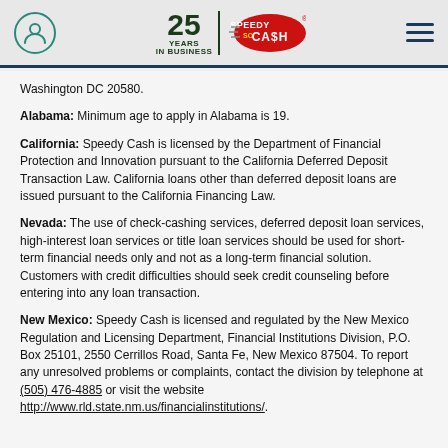Speedy Cash – 25 Years in Business
Washington DC 20580.
Alabama: Minimum age to apply in Alabama is 19.
California: Speedy Cash is licensed by the Department of Financial Protection and Innovation pursuant to the California Deferred Deposit Transaction Law. California loans other than deferred deposit loans are issued pursuant to the California Financing Law.
Nevada: The use of check-cashing services, deferred deposit loan services, high-interest loan services or title loan services should be used for short-term financial needs only and not as a long-term financial solution. Customers with credit difficulties should seek credit counseling before entering into any loan transaction.
New Mexico: Speedy Cash is licensed and regulated by the New Mexico Regulation and Licensing Department, Financial Institutions Division, P.O. Box 25101, 2550 Cerrillos Road, Santa Fe, New Mexico 87504. To report any unresolved problems or complaints, contact the division by telephone at (505) 476-4885 or visit the website http://www.rld.state.nm.us/financialinstitutions/.